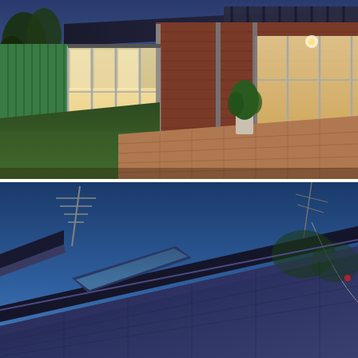[Figure (photo): Exterior rear view of a brick residential house at dusk. The house features large sliding glass doors and windows illuminated from inside, a covered pergola/patio area with metal posts, a neat green lawn, and brick paving. A green fence is visible on the left side.]
[Figure (photo): Upward-angled exterior view of the same residential house at dusk showing the roof line with a TV antenna, blue metal roof trim, skylights/vents, and a clear blue sky. Trees are visible in the background.]